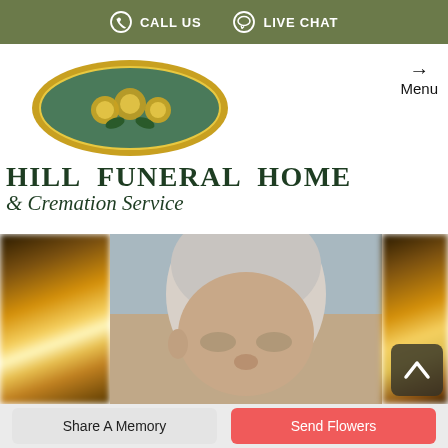CALL US  LIVE CHAT
[Figure (logo): Hill Funeral Home & Cremation Service logo with green oval and golden roses emblem, plus Menu navigation button]
HILL FUNERAL HOME & Cremation Service
[Figure (photo): Center portrait photo of an older man with white/gray hair, flanked by blurred candle bokeh photos on left and right]
Share A Memory
Send Flowers